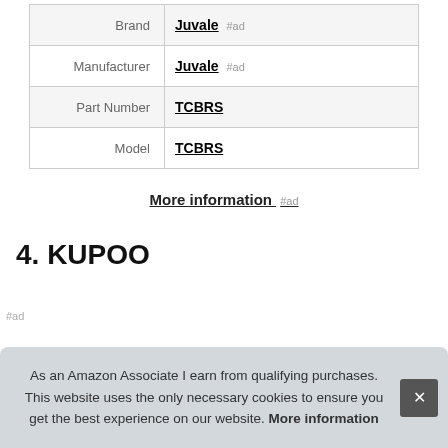|  |  |
| --- | --- |
| Brand | Juvale #ad |
| Manufacturer | Juvale #ad |
| Part Number | TCBRS |
| Model | TCBRS |
More information #ad
4. KUPOO
As an Amazon Associate I earn from qualifying purchases. This website uses the only necessary cookies to ensure you get the best experience on our website. More information